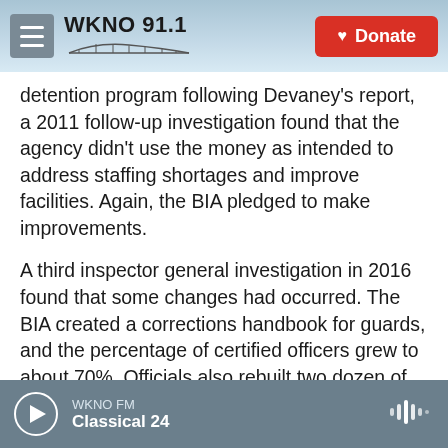WKNO 91.1 | Donate
detention program following Devaney's report, a 2011 follow-up investigation found that the agency didn't use the money as intended to address staffing shortages and improve facilities. Again, the BIA pledged to make improvements.
A third inspector general investigation in 2016 found that some changes had occurred. The BIA created a corrections handbook for guards, and the percentage of certified officers grew to about 70%. Officials also rebuilt two dozen of the 77 jails.
But problems still exist. Inmate deaths continue,
WKNO FM | Classical 24